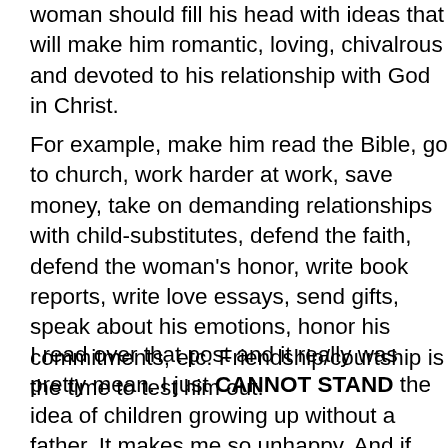woman should fill his head with ideas that will make him romantic, loving, chivalrous and devoted to his relationship with God in Christ.
For example, make him read the Bible, go to church, work harder at work, save money, take on demanding relationships with child-substitutes, defend the faith, defend the woman's honor, write book reports, write love essays, send gifts, speak about his emotions, honor his commitments, etc. Friendship/courtship is the time to test him out.
I read over that post and it really was pretty mean. I just CANNOT STAND the idea of children growing up without a father. It makes me so unhappy. And if the government is encouraging women to not marry and to raise children without a father, and to not stay home with their children then government needs to stop doing that. Let's pay for successful